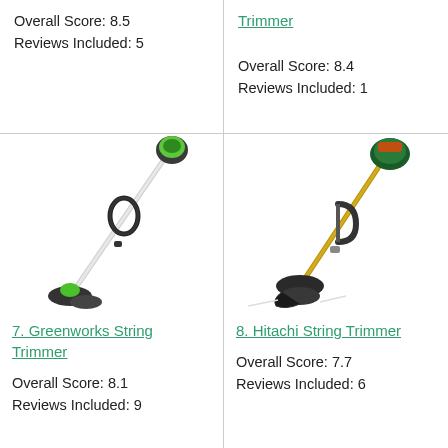Overall Score: 8.5
Reviews Included: 5
Trimmer
Overall Score: 8.4
Reviews Included: 1
[Figure (photo): Greenworks string trimmer with black and green body, long white shaft, loop handle, and trimmer head at bottom]
[Figure (photo): Hitachi string trimmer with dark green engine, gold/silver shaft, D-loop handle, and black trimmer head with line guard at bottom]
7. Greenworks String Trimmer
Overall Score: 8.1
Reviews Included: 9
8. Hitachi String Trimmer
Overall Score: 7.7
Reviews Included: 6